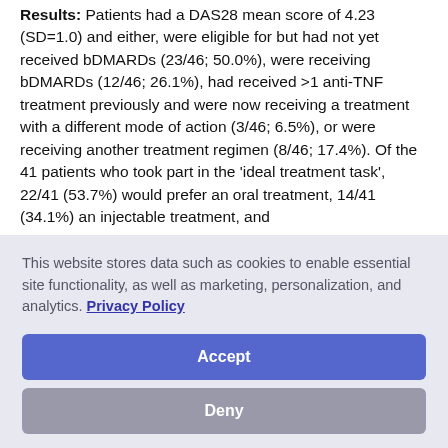Results: Patients had a DAS28 mean score of 4.23 (SD=1.0) and either, were eligible for but had not yet received bDMARDs (23/46; 50.0%), were receiving bDMARDs (12/46; 26.1%), had received >1 anti-TNF treatment previously and were now receiving a treatment with a different mode of action (3/46; 6.5%), or were receiving another treatment regimen (8/46; 17.4%). Of the 41 patients who took part in the 'ideal treatment task', 22/41 (53.7%) would prefer an oral treatment, 14/41 (34.1%) an injectable treatment, and
This website stores data such as cookies to enable essential site functionality, as well as marketing, personalization, and analytics. Privacy Policy
Accept
Deny